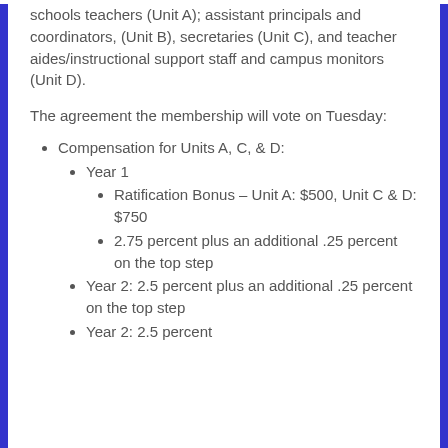schools teachers (Unit A); assistant principals and coordinators, (Unit B), secretaries (Unit C), and teacher aides/instructional support staff and campus monitors (Unit D).
The agreement the membership will vote on Tuesday:
Compensation for Units A, C, & D:
Year 1
Ratification Bonus – Unit A: $500, Unit C & D: $750
2.75 percent plus an additional .25 percent on the top step
Year 2: 2.5 percent plus an additional .25 percent on the top step
Year 2: 2.5 percent